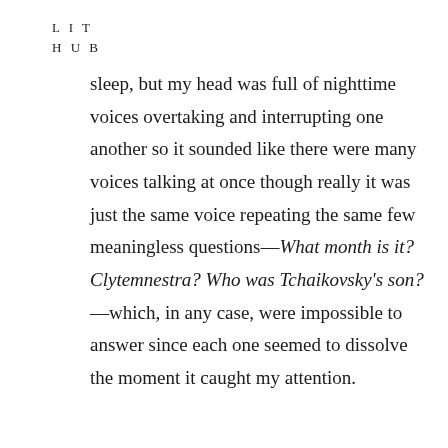L I T
H U B
sleep, but my head was full of nighttime voices overtaking and interrupting one another so it sounded like there were many voices talking at once though really it was just the same voice repeating the same few meaningless questions—What month is it? Clytemnestra? Who was Tchaikovsky's son?—which, in any case, were impossible to answer since each one seemed to dissolve the moment it caught my attention.